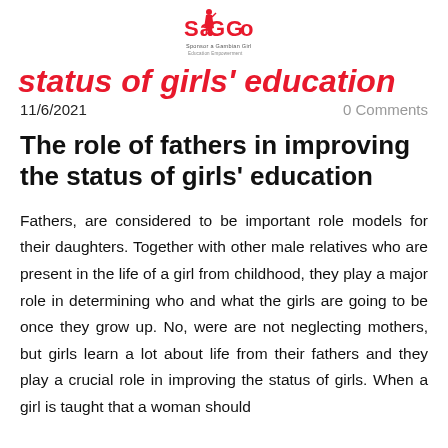[Figure (logo): SaGGo - Sponsor a Gambian Girl logo with red text and silhouette of a girl]
status of girls' education
11/6/2021
0 Comments
The role of fathers in improving the status of girls' education
Fathers, are considered to be important role models for their daughters. Together with other male relatives who are present in the life of a girl from childhood, they play a major role in determining who and what the girls are going to be once they grow up. No, were are not neglecting mothers, but girls learn a lot about life from their fathers and they play a crucial role in improving the status of girls. When a girl is taught that a woman should